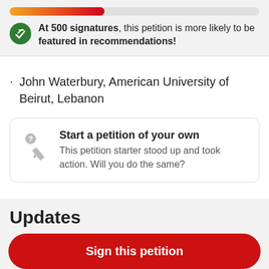[Figure (infographic): Progress bar showing petition signature progress, gradient from orange to red, about 38% filled, on a light gray background track.]
At 500 signatures, this petition is more likely to be featured in recommendations!
John Waterbury, American University of Beirut, Lebanon
Start a petition of your own
This petition starter stood up and took action. Will you do the same?
Updates
Sign this petition